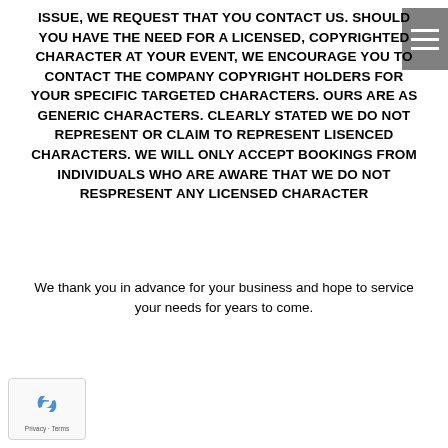ISSUE, WE REQUEST THAT YOU CONTACT US. SHOULD YOU HAVE THE NEED FOR A LICENSED, COPYRIGHTED CHARACTER AT YOUR EVENT, WE ENCOURAGE YOU TO CONTACT THE COMPANY COPYRIGHT HOLDERS FOR YOUR SPECIFIC TARGETED CHARACTERS. OURS ARE AS GENERIC CHARACTERS. CLEARLY STATED WE DO NOT REPRESENT OR CLAIM TO REPRESENT LISENCED CHARACTERS. WE WILL ONLY ACCEPT BOOKINGS FROM INDIVIDUALS WHO ARE AWARE THAT WE DO NOT RESPRESENT ANY LICENSED CHARACTER
We thank you in advance for your business and hope to service your needs for years to come.
[Figure (other): reCAPTCHA widget with recycling-arrow logo and Privacy - Terms text]